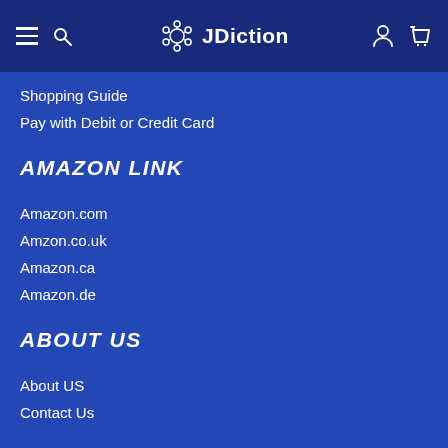JDiction
Shopping Guide
Pay with Debit or Credit Card
AMAZON LINK
Amazon.com
Amzon.co.uk
Amazon.ca
Amazon.de
ABOUT US
About US
Contact Us